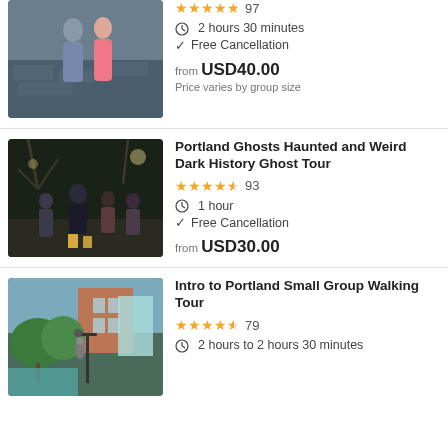[Figure (photo): Two people standing against a stone wall, outdoor night tour setting]
★★★★½ 97
⏱ 2 hours 30 minutes
✓ Free Cancellation
from USD40.00
Price varies by group size
Portland Ghosts Haunted and Weird Dark History Ghost Tour
[Figure (photo): Group of people gathered at night around lanterns on a street with trees and lights]
★★★★½ 93
⏱ 1 hour
✓ Free Cancellation
from USD30.00
Intro to Portland Small Group Walking Tour
[Figure (photo): Outdoor city scene with trees and a statue in Portland]
★★★★½ 79
⏱ 2 hours to 2 hours 30 minutes